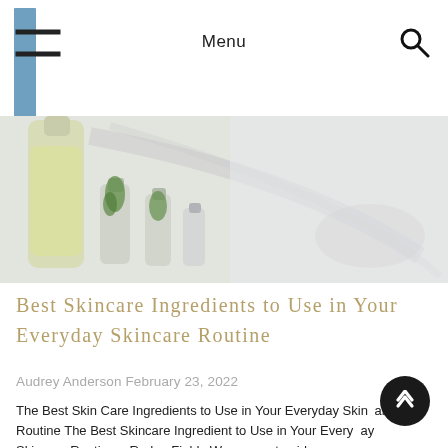Menu
[Figure (photo): Photo of glass bottles and vials with botanical/plant ingredients and yellow oil, casting shadows on a light gray background.]
Best Skincare Ingredients to Use in Your Everyday Skincare Routine
Audrey Anderson February 23, 2022
The Best Skin Care Ingredients to Use in Your Everyday Skincare Routine The Best Skincare Ingredient to Use in Your Everyday Skincare Routine – Rodan Fields We may get paid